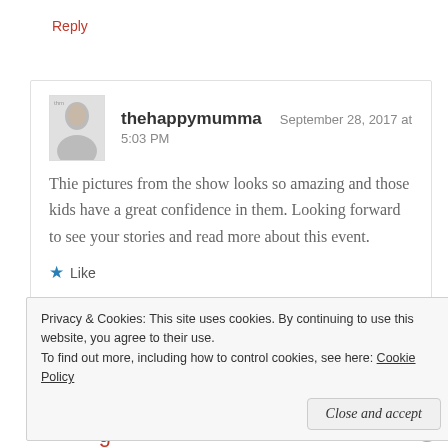Reply
[Figure (photo): Avatar photo of thehappymumma — black and white photo of a woman holding a baby]
thehappymumma   September 28, 2017 at 5:03 PM
Thie pictures from the show looks so amazing and those kids have a great confidence in them. Looking forward to see your stories and read more about this event.
★ Like
Reply
Privacy & Cookies: This site uses cookies. By continuing to use this website, you agree to their use.
To find out more, including how to control cookies, see here: Cookie Policy
Close and accept